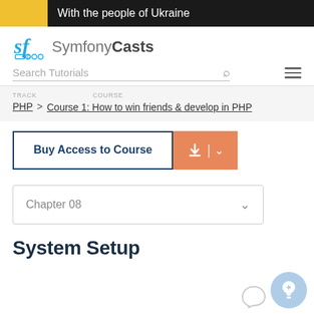With the people of Ukraine
[Figure (logo): SymfonyCasts logo with sf icon and text]
Search Tutorials
TRACK > COURSE
PHP > Course 1: How to win friends & develop in PHP
Buy Access to Course
Chapter 08
System Setup